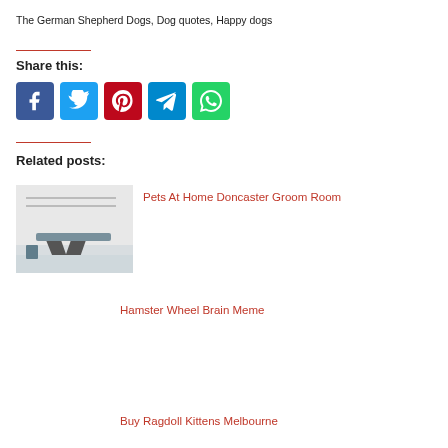The German Shepherd Dogs, Dog quotes, Happy dogs
Share this:
[Figure (other): Social media share buttons: Facebook (blue), Twitter (light blue), Pinterest (red), Telegram (blue), WhatsApp (green)]
Related posts:
[Figure (photo): Photo of a pet grooming room with a grooming table and equipment against a white wall]
Pets At Home Doncaster Groom Room
Hamster Wheel Brain Meme
Buy Ragdoll Kittens Melbourne